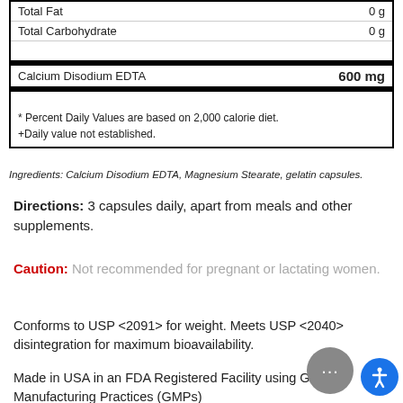| Nutrient | Amount |
| --- | --- |
| Total Fat | 0 g |
| Total Carbohydrate | 0 g |
| Calcium Disodium EDTA | 600 mg |
* Percent Daily Values are based on 2,000 calorie diet.
+Daily value not established.
Ingredients: Calcium Disodium EDTA, Magnesium Stearate, gelatin capsules.
Directions: 3 capsules daily, apart from meals and other supplements.
Caution: Not recommended for pregnant or lactating women.
Conforms to USP <2091> for weight. Meets USP <2040> disintegration for maximum bioavailability.
Made in USA in an FDA Registered Facility using Good Manufacturing Practices (GMPs)
*These statements have not been evaluated by the Food and Drug Administration. This product is not intended to